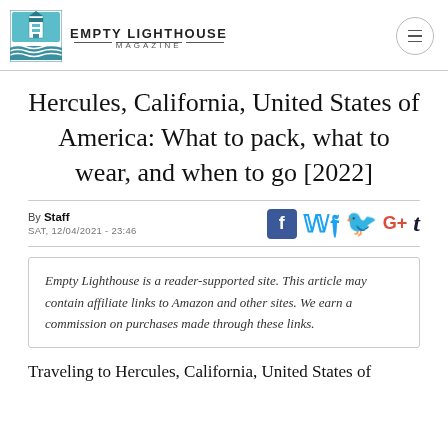EMPTY LIGHTHOUSE MAGAZINE
Hercules, California, United States of America: What to pack, what to wear, and when to go [2022]
By Staff
SAT, 12/04/2021 - 23:46
Empty Lighthouse is a reader-supported site. This article may contain affiliate links to Amazon and other sites. We earn a commission on purchases made through these links.
Traveling to Hercules, California, United States of America? If so, you'll want to start thinking about this...